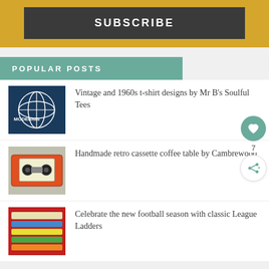SUBSCRIBE
POPULAR POSTS
Vintage and 1960s t-shirt designs by Mr B's Soulful Tees
Handmade retro cassette coffee table by Cambrewood
Celebrate the new football season with classic League Ladders